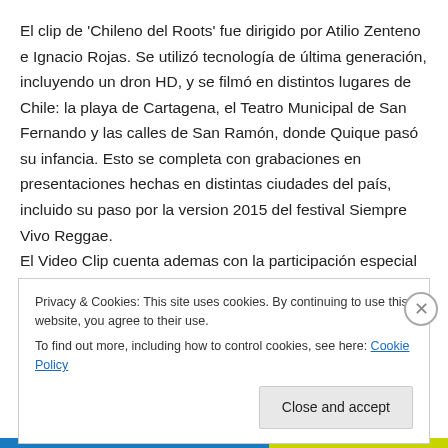El clip de 'Chileno del Roots' fue dirigido por Atilio Zenteno e Ignacio Rojas. Se utilizó tecnología de última generación, incluyendo un dron HD, y se filmó en distintos lugares de Chile: la playa de Cartagena, el Teatro Municipal de San Fernando y las calles de San Ramón, donde Quique pasó su infancia. Esto se completa con grabaciones en presentaciones hechas en distintas ciudades del país, incluido su paso por la version 2015 del festival Siempre Vivo Reggae. El Video Clip cuenta ademas con la participación especial del sobrino del artista, Jonás
Privacy & Cookies: This site uses cookies. By continuing to use this website, you agree to their use.
To find out more, including how to control cookies, see here: Cookie Policy
Close and accept